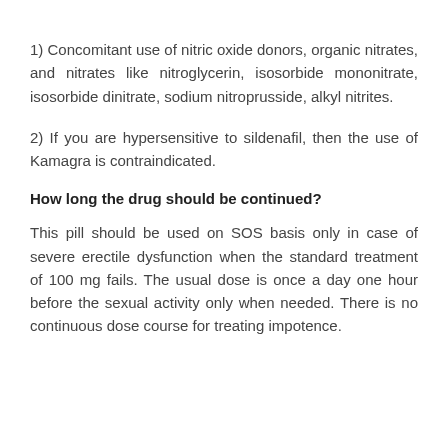1) Concomitant use of nitric oxide donors, organic nitrates, and nitrates like nitroglycerin, isosorbide mononitrate, isosorbide dinitrate, sodium nitroprusside, alkyl nitrites.
2) If you are hypersensitive to sildenafil, then the use of Kamagra is contraindicated.
How long the drug should be continued?
This pill should be used on SOS basis only in case of severe erectile dysfunction when the standard treatment of 100 mg fails. The usual dose is once a day one hour before the sexual activity only when needed. There is no continuous dose course for treating impotence.